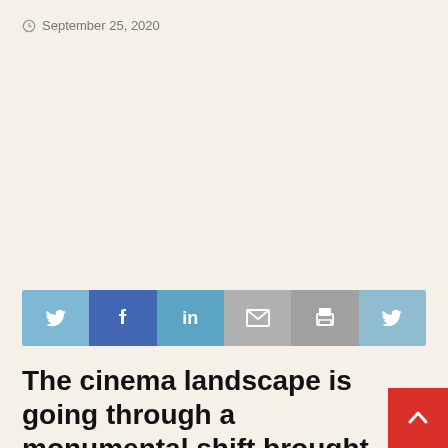September 25, 2020
[Figure (other): Advertisement / blank area]
[Figure (infographic): Social sharing bar with Twitter, Facebook, LinkedIn, Email, Print, Twitter buttons]
The cinema landscape is going through a monumental shift brought on by the lockdowns and court, which lifted restrictions on